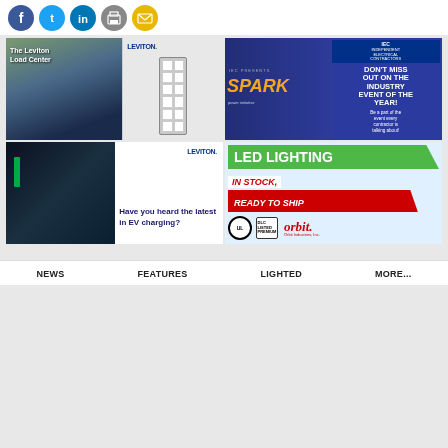[Figure (infographic): Social media sharing icons row: Facebook (blue circle), Twitter (light blue circle), LinkedIn (blue circle), Print (gray circle), Email (gold circle)]
[Figure (infographic): Leviton Load Center advertisement - shows a home image and electrical panel on dark blue background]
[Figure (infographic): IEC SPARK Power Initiative event ad - dark blue background with SPARK logo and event information. Text: DON'T MISS OUT ON THE INDUSTRY EVENT OF THE YEAR! Be a part of the event every contractor is talking about! REGISTER NOW]
[Figure (infographic): Leviton EV charging advertisement - Have you heard the latest in EV charging?]
[Figure (infographic): Orbit Industries LED Lighting ad - LED LIGHTING IN STOCK, READY TO SHIP with UL and DLC certifications and Orbit logo]
NEWS   FEATURES   LIGHTED   MORE...